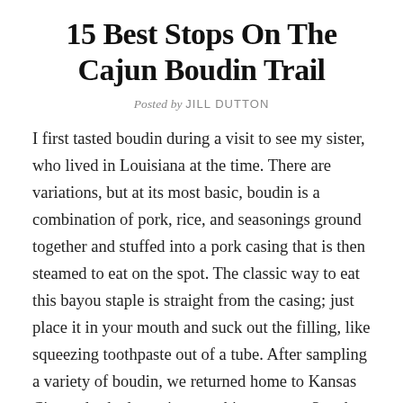15 Best Stops On The Cajun Boudin Trail
Posted by JILLDUTTON
I first tasted boudin during a visit to see my sister, who lived in Louisiana at the time. There are variations, but at its most basic, boudin is a combination of pork, rice, and seasonings ground together and stuffed into a pork casing that is then steamed to eat on the spot. The classic way to eat this bayou staple is straight from the casing; just place it in your mouth and suck out the filling, like squeezing toothpaste out of a tube. After sampling a variety of boudin, we returned home to Kansas City and asked my sister to ship us more. So when I was invited to Lake Charles, Louisiana, on a